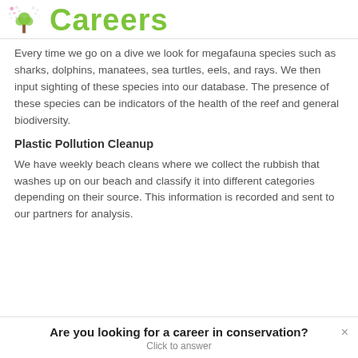Careers
Every time we go on a dive we look for megafauna species such as sharks, dolphins, manatees, sea turtles, eels, and rays. We then input sighting of these species into our database. The presence of these species can be indicators of the health of the reef and general biodiversity.
Plastic Pollution Cleanup
We have weekly beach cleans where we collect the rubbish that washes up on our beach and classify it into different categories depending on their source. This information is recorded and sent to our partners for analysis.
Are you looking for a career in conservation? Click to answer